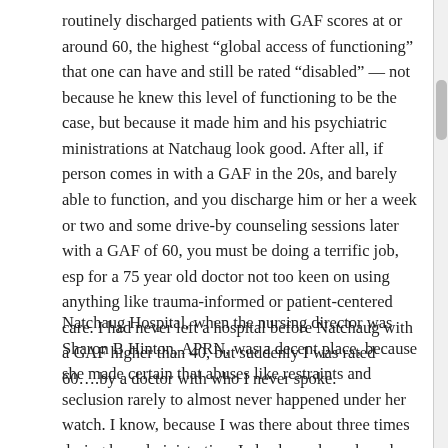routinely discharged patients with GAF scores at or around 60, the highest “global access of functioning” that one can have and still be rated “disabled” — not because he knew this level of functioning to be the case, but because it made him and his psychiatric ministrations at Natchaug look good. After all, if person comes in with a GAF in the 20s, and barely able to function, and you discharge him or her a week or two and some drive-by counseling sessions later with a GAF of 60, you must be doing a terrific job, esp for a 75 year old doctor not too keen on using anything like trauma-informed or patient-centered care. I had never left a hospital before Natchaug with a GAF higher than 40, but suddenly I was rated 60….by a doctor with who I never spoke.
Natchaug Hospital, when the nursing director was Sharon B Hinton, APRN, was a decent place, because she made certain that abuses like restraints and seclusion rarely to almost never happened under her watch. I know, because I was there about three times during her administration. I also knew her when she was Hartford Hospital’s psychiatric Head Nurse at